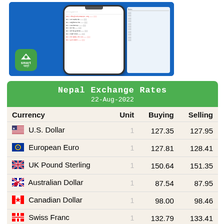[Figure (screenshot): Screenshot of Smart Patro app showing a calendar/list interface on a smartphone, with a blue background and green Smart Patro logo in the bottom left.]
| Currency | Unit | Buying | Selling |
| --- | --- | --- | --- |
| 🇺🇸 U.S. Dollar | 1 | 127.35 | 127.95 |
| 🇪🇺 European Euro | 1 | 127.81 | 128.41 |
| 🇬🇧 UK Pound Sterling | 1 | 150.64 | 151.35 |
| 🇦🇺 Australian Dollar | 1 | 87.54 | 87.95 |
| 🇨🇦 Canadian Dollar | 1 | 98.00 | 98.46 |
| 🇨🇭 Swiss Franc | 1 | 132.79 | 133.41 |
| 🇨🇳 Chinese Yuan | 1 | 18.68 | 18.77 |
| 🇯🇵 Japanese Yen | 10 | 9.30 | 9.34 |